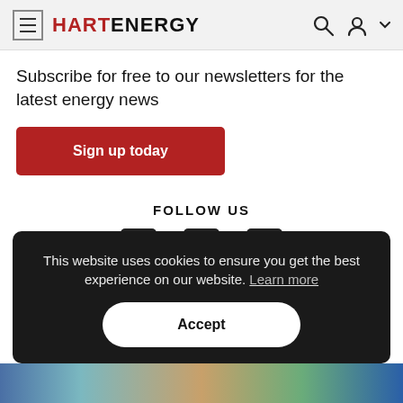HART ENERGY
Subscribe for free to our newsletters for the latest energy news
Sign up today
FOLLOW US
[Figure (infographic): Social media icons: Facebook, Twitter, YouTube]
This website uses cookies to ensure you get the best experience on our website. Learn more
Accept
[Figure (photo): Partial image visible at the bottom of the page with colorful gradient background]